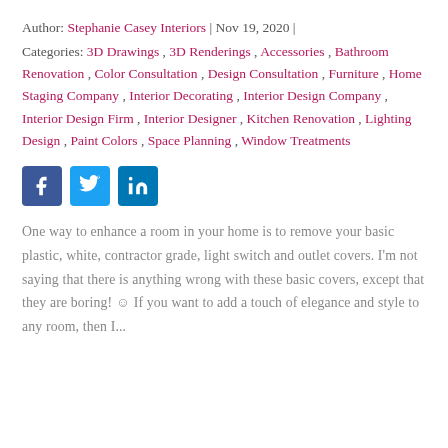Author: Stephanie Casey Interiors | Nov 19, 2020 |
Categories: 3D Drawings , 3D Renderings , Accessories , Bathroom Renovation , Color Consultation , Design Consultation , Furniture , Home Staging Company , Interior Decorating , Interior Design Company , Interior Design Firm , Interior Designer , Kitchen Renovation , Lighting Design , Paint Colors , Space Planning , Window Treatments
[Figure (infographic): Social media share icons: Facebook (blue square with f), Twitter (light blue square with bird), LinkedIn (blue square with in)]
One way to enhance a room in your home is to remove your basic plastic, white, contractor grade, light switch and outlet covers. I'm not saying that there is anything wrong with these basic covers, except that they are boring! ☺ If you want to add a touch of elegance and style to any room, then I...